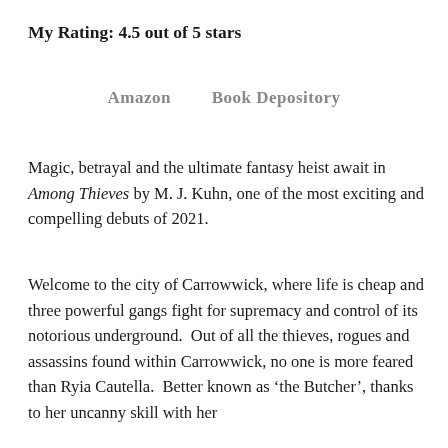My Rating: 4.5 out of 5 stars
Amazon    Book Depository
Magic, betrayal and the ultimate fantasy heist await in Among Thieves by M. J. Kuhn, one of the most exciting and compelling debuts of 2021.
Welcome to the city of Carrowwick, where life is cheap and three powerful gangs fight for supremacy and control of its notorious underground.  Out of all the thieves, rogues and assassins found within Carrowwick, no one is more feared than Ryia Cautella.  Better known as ‘the Butcher’, thanks to her uncanny skill with her